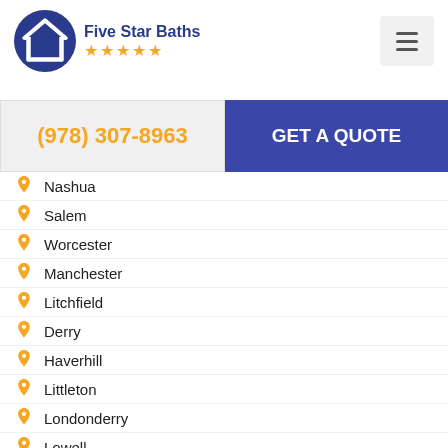[Figure (logo): Five Star Baths logo with house icon in dark blue circle and five orange stars]
(978) 307-8963
GET A QUOTE
Nashua
Salem
Worcester
Manchester
Litchfield
Derry
Haverhill
Littleton
Londonderry
Lowell
Marlborough
Windham, NH
Burlington
Framingham